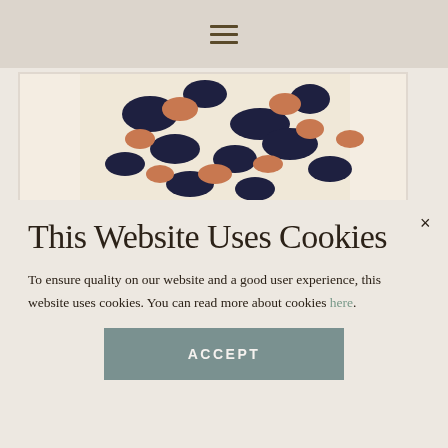≡
[Figure (photo): Partial product photo of a cream-colored knit sweater with black and orange leopard print pattern, framed in a white bordered rectangle. The bottom of the sweater is visible along with dark pants/leggings underneath.]
This Website Uses Cookies
To ensure quality on our website and a good user experience, this website uses cookies. You can read more about cookies here.
ACCEPT